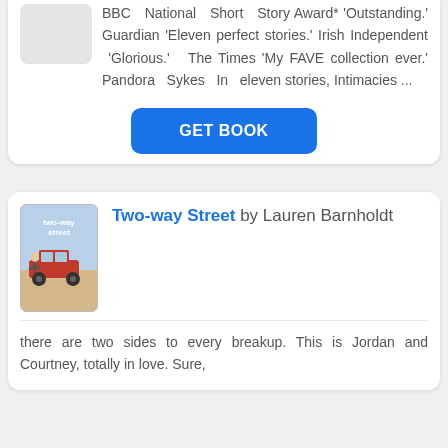BBC National Short Story Award* 'Outstanding.' Guardian 'Eleven perfect stories.' Irish Independent 'Glorious.' The Times 'My FAVE collection ever.' Pandora Sykes In eleven stories, Intimacies ...
GET BOOK
[Figure (photo): Book cover thumbnail for Two-way Street showing a red car with a person leaning over it, with a light blue sky background and the title 'two-way street' in white text.]
Two-way Street by Lauren Barnholdt
there are two sides to every breakup. This is Jordan and Courtney, totally in love. Sure,